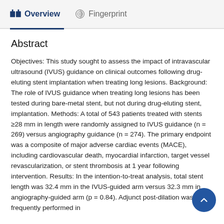Overview   Fingerprint
Abstract
Objectives: This study sought to assess the impact of intravascular ultrasound (IVUS) guidance on clinical outcomes following drug-eluting stent implantation when treating long lesions. Background: The role of IVUS guidance when treating long lesions has been tested during bare-metal stent, but not during drug-eluting stent, implantation. Methods: A total of 543 patients treated with stents ≥28 mm in length were randomly assigned to IVUS guidance (n = 269) versus angiography guidance (n = 274). The primary endpoint was a composite of major adverse cardiac events (MACE), including cardiovascular death, myocardial infarction, target vessel revascularization, or stent thrombosis at 1 year following intervention. Results: In the intention-to-treat analysis, total stent length was 32.4 mm in the IVUS-guided arm versus 32.3 mm in angiography-guided arm (p = 0.84). Adjunct post-dilation was more frequently performed in